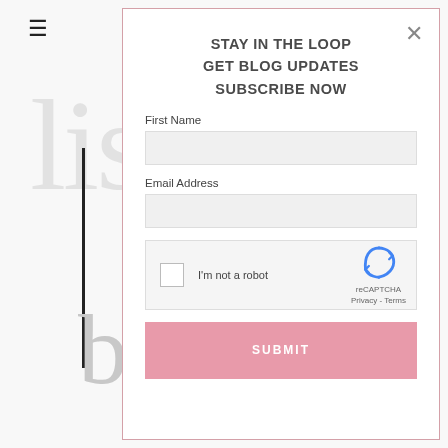[Figure (screenshot): Website background showing hamburger menu icon and partial blog logo text 'lisa' with vertical line and 'b' character in light gray]
STAY IN THE LOOP
GET BLOG UPDATES
SUBSCRIBE NOW
First Name
Email Address
[Figure (other): reCAPTCHA widget with checkbox labeled 'I'm not a robot' and reCAPTCHA logo with Privacy - Terms text]
SUBMIT